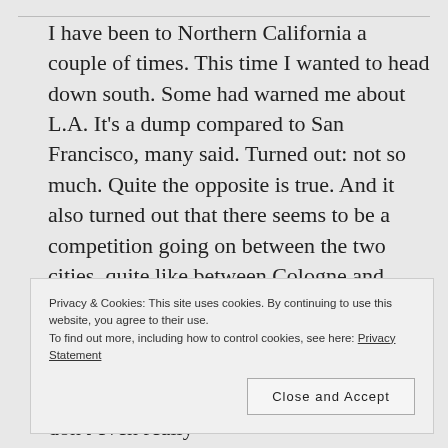I have been to Northern California a couple of times. This time I wanted to head down south. Some had warned me about L.A. It’s a dump compared to San Francisco, many said. Turned out: not so much. Quite the opposite is true. And it also turned out that there seems to be a competition going on between the two cities, quite like between Cologne and Düsseldorf in Germany. And equally on mainly friendly terms, taking the competition very lightly. A couple I met in Malibu went as far as saying that L.A.ers don’t even really
Privacy & Cookies: This site uses cookies. By continuing to use this website, you agree to their use.
To find out more, including how to control cookies, see here: Privacy Statement
Close and Accept